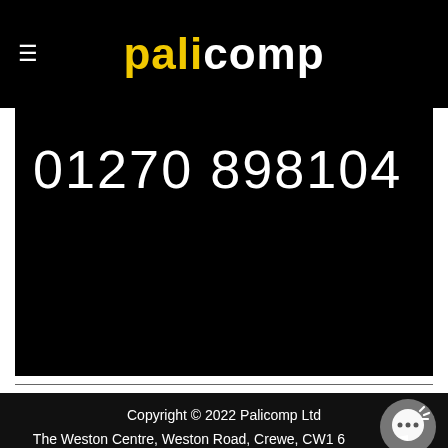palicomp
01270 898104
Copyright © 2022 Palicomp Ltd
The Weston Centre, Weston Road, Crewe, CW1 6